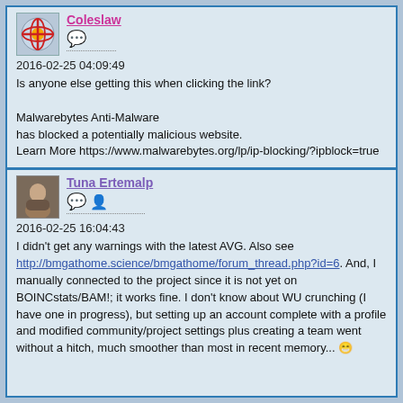Coleslaw
2016-02-25 04:09:49
Is anyone else getting this when clicking the link?

Malwarebytes Anti-Malware
has blocked a potentially malicious website.
Learn More https://www.malwarebytes.org/lp/ip-blocking/?ipblock=true
Tuna Ertemalp
2016-02-25 16:04:43
I didn't get any warnings with the latest AVG. Also see http://bmgathome.science/bmgathome/forum_thread.php?id=6. And, I manually connected to the project since it is not yet on BOINCstats/BAM!; it works fine. I don't know about WU crunching (I have one in progress), but setting up an account complete with a profile and modified community/project settings plus creating a team went without a hitch, much smoother than most in recent memory... 😁